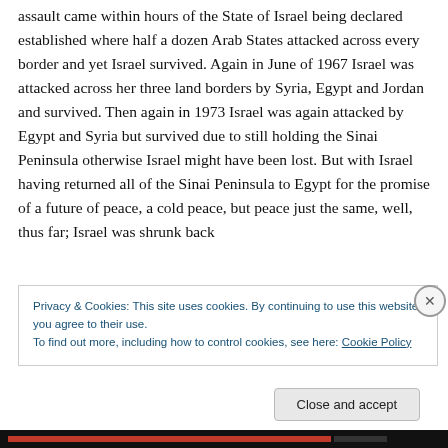assault came within hours of the State of Israel being declared established where half a dozen Arab States attacked across every border and yet Israel survived. Again in June of 1967 Israel was attacked across her three land borders by Syria, Egypt and Jordan and survived. Then again in 1973 Israel was again attacked by Egypt and Syria but survived due to still holding the Sinai Peninsula otherwise Israel might have been lost. But with Israel having returned all of the Sinai Peninsula to Egypt for the promise of a future of peace, a cold peace, but peace just the same, well, thus far; Israel was shrunk back
Privacy & Cookies: This site uses cookies. By continuing to use this website, you agree to their use. To find out more, including how to control cookies, see here: Cookie Policy
Close and accept